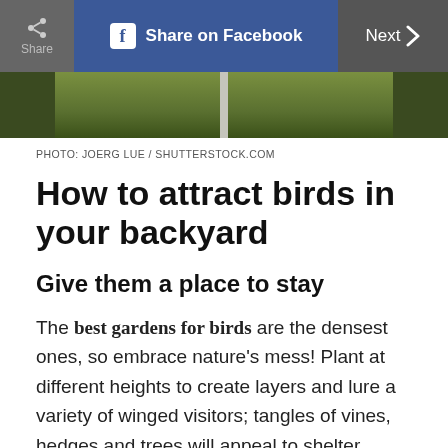Share | Share on Facebook | Next >
[Figure (photo): Partial view of a green garden/outdoor scene with what appears to be a post or birdhouse, cropped at top of page]
PHOTO: JOERG LUE / SHUTTERSTOCK.COM
How to attract birds in your backyard
Give them a place to stay
The best gardens for birds are the densest ones, so embrace nature's mess! Plant at different heights to create layers and lure a variety of winged visitors; tangles of vines, hedges and trees will appeal to shelter seekers. To up the ante, invest in a birdhouse (or build one from scratch). Make sure it's well ventilated, and that the perch isn't